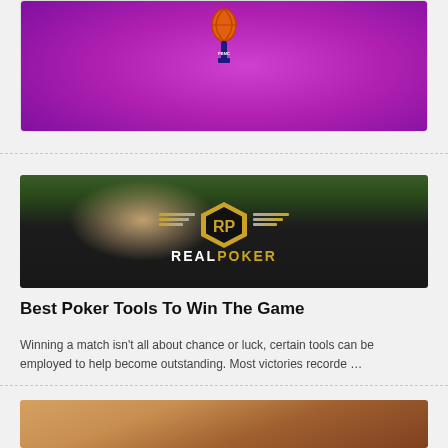[Figure (photo): Purple background image with basketball icon, partially cropped at top]
[Figure (photo): Woman wearing a black REALPOKER (RP logo) tank top, photographed outdoors]
Best Poker Tools To Win The Game
Winning a match isn't all about chance or luck, certain tools can be employed to help become outstanding. Most victories recorde …
[Figure (photo): Partial photo of a woman, cropped, bottom of page]